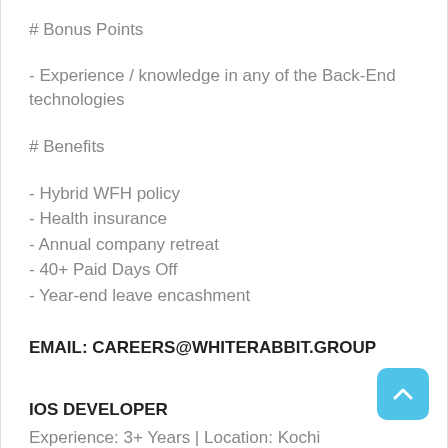# Bonus Points
- Experience / knowledge in any of the Back-End technologies
# Benefits
- Hybrid WFH policy
- Health insurance
- Annual company retreat
- 40+ Paid Days Off
- Year-end leave encashment
EMAIL: CAREERS@WHITERABBIT.GROUP
IOS DEVELOPER
Experience: 3+ Years | Location: Kochi